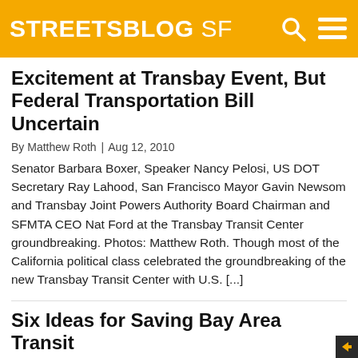STREETSBLOG SF
Excitement at Transbay Event, But Federal Transportation Bill Uncertain
By Matthew Roth | Aug 12, 2010
Senator Barbara Boxer, Speaker Nancy Pelosi, US DOT Secretary Ray Lahood, San Francisco Mayor Gavin Newsom and Transbay Joint Powers Authority Board Chairman and SFMTA CEO Nat Ford at the Transbay Transit Center groundbreaking. Photos: Matthew Roth. Though most of the California political class celebrated the groundbreaking of the new Transbay Transit Center with U.S. [...]
Six Ideas for Saving Bay Area Transit
By Egon Terplan | Mar 14, 2012
[Editor's note: This article is re-published with permission from the transit-themed March issue of The Urbanist, the